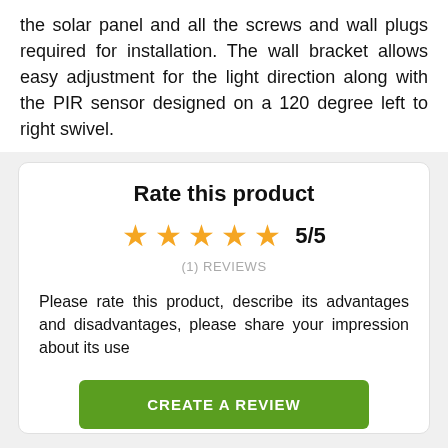the solar panel and all the screws and wall plugs required for installation. The wall bracket allows easy adjustment for the light direction along with the PIR sensor designed on a 120 degree left to right swivel.
Rate this product
★★★★★ 5/5
(1) REVIEWS
Please rate this product, describe its advantages and disadvantages, please share your impression about its use
CREATE A REVIEW